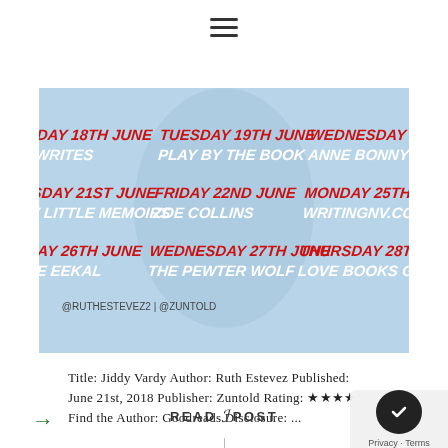≡ (hamburger menu icon)
[Figure (infographic): Blog tour schedule banner with light blue background. Shows dates and blog names in red and white decorative text: MONDAY 18TH JUNE - WRITES, TUESDAY 19TH JUNE - PLAY BY THE BOOK, WEDNESDAY 20TH - ANNE BONNY BOO, THURSDAY 21ST JUNE - Y LITTLE MEMOIRS, FRIDAY 22ND JUNE - ZOE COLLINS, MONDAY 25TH JU - WRITINGNV.COM, TUESDAY 26TH JUNE - GE EEKAL, WEDNESDAY 27TH JUNE - THE PEWTER WOLF, THURSDAY 28TH J - LOVE BOOKS GRO. Social handles @RUTHESTEVEZ2 | @ZUNTOLD at bottom.]
Title: Jiddy Vardy Author: Ruth Estevez Published: June 21st, 2018 Publisher: Zuntold Rating: ★★★★ Find the Author: Goodreads Disclosure: ...
[Figure (other): Vertical divider line]
READ THE POST
→ (next arrow)
Privacy · Terms